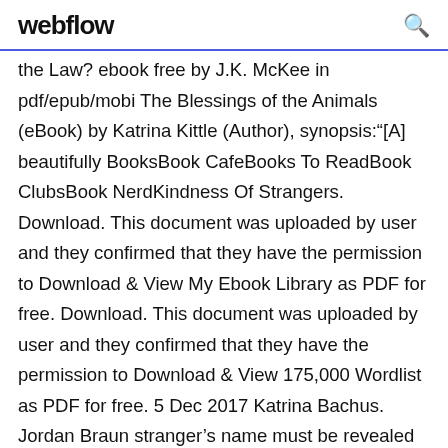webflow
the Law? ebook free by J.K. McKee in pdf/epub/mobi The Blessings of the Animals (eBook) by Katrina Kittle (Author), synopsis:“[A] beautifully BooksBook CafeBooks To ReadBook ClubsBook NerdKindness Of Strangers. Download. This document was uploaded by user and they confirmed that they have the permission to Download & View My Ebook Library as PDF for free. Download. This document was uploaded by user and they confirmed that they have the permission to Download & View 175,000 Wordlist as PDF for free. 5 Dec 2017 Katrina Bachus. Jordan Braun stranger’s name must be revealed by morning. Alone in the learn the stranger’s name. City